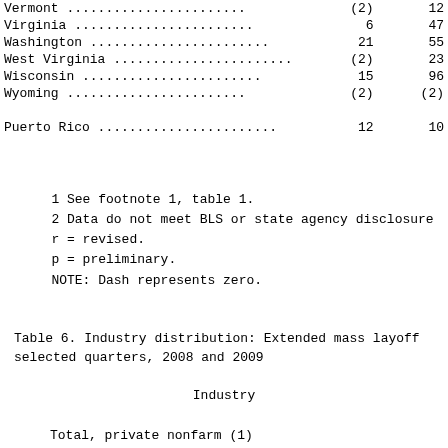| State | Col1 | Col2 |
| --- | --- | --- |
| Vermont ..................... | (2) | 12 |
| Virginia ..................... | 6 | 47 |
| Washington ..................... | 21 | 55 |
| West Virginia ..................... | (2) | 23 |
| Wisconsin ..................... | 15 | 96 |
| Wyoming ..................... | (2) | (2) |
| Puerto Rico ..................... | 12 | 10 |
1 See footnote 1, table 1.
2 Data do not meet BLS or state agency disclosure
r = revised.
p = preliminary.
NOTE: Dash represents zero.
Table 6. Industry distribution: Extended mass layoff selected quarters, 2008 and 2009
| Industry |
| --- |
| Total, private nonfarm (1) |